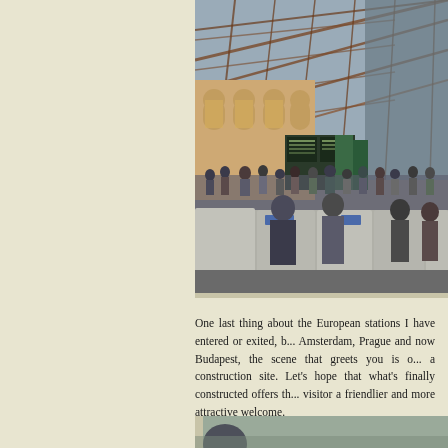[Figure (photo): Interior of a large European train station (Budapest Keleti) with a grand iron and glass arched roof. Crowds of people stand at construction barriers or ticket windows in the main hall. Ornate arched windows visible on the back wall. The scene shows ongoing construction with concrete barriers lining the floor.]
One last thing about the European stations I have entered or exited, b... Amsterdam, Prague and now Budapest, the scene that greets you is o... a construction site. Let's hope that what's finally constructed offers th... visitor a friendlier and more attractive welcome.
[Figure (photo): Partial view of a second photograph at the bottom of the page, showing what appears to be an outdoor scene, partially visible.]